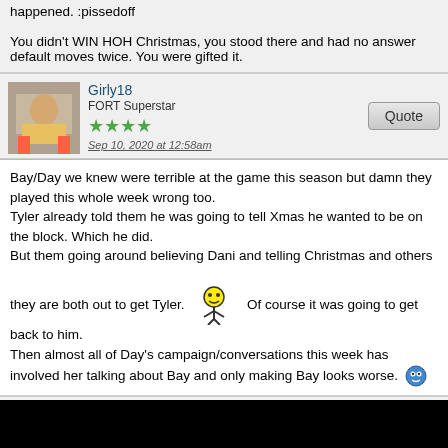happened. :pissedoff
You didn't WIN HOH Christmas, you stood there and had no answer default moves twice. You were gifted it.
Girly18 | FORT Superstar | Sep 10, 2020 at 12:58am
Bay/Day we knew were terrible at the game this season but damn they played this whole week wrong too.
Tyler already told them he was going to tell Xmas he wanted to be on the block. Which he did.
But them going around believing Dani and telling Christmas and others they are both out to get Tyler. Of course it was going to get back to him.
Then almost all of Day's campaign/conversations this week has involved her talking about Bay and only making Bay looks worse.
Girly18 | FORT Superstar